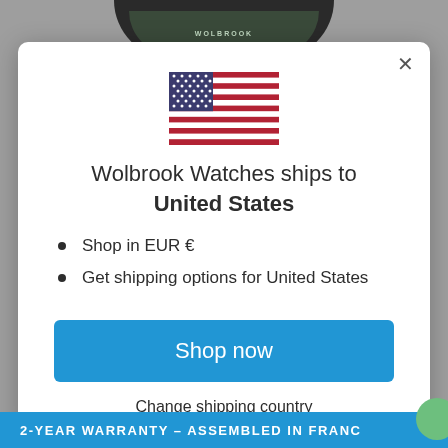[Figure (illustration): US flag icon centered in modal]
Wolbrook Watches ships to United States
Shop in EUR €
Get shipping options for United States
Shop now
Change shipping country
2-YEAR WARRANTY – ASSEMBLED IN FRANC